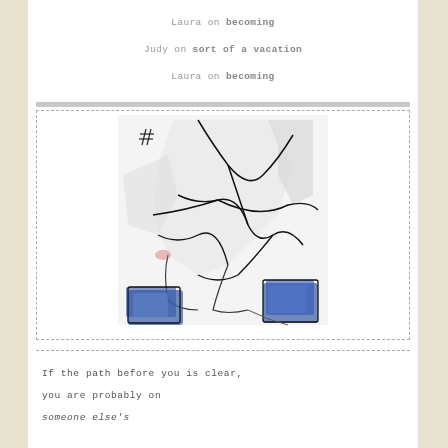Laura on becoming
Judy on sort of a vacation
Laura on becoming
[Figure (illustration): Abstract artwork showing fragmented white/grey shapes with black lines suggesting cracks or boundaries, with blue painted areas at bottom left and right corners, and a hash symbol in upper left area.]
If the path before you is clear,

you are probably on

someone else's